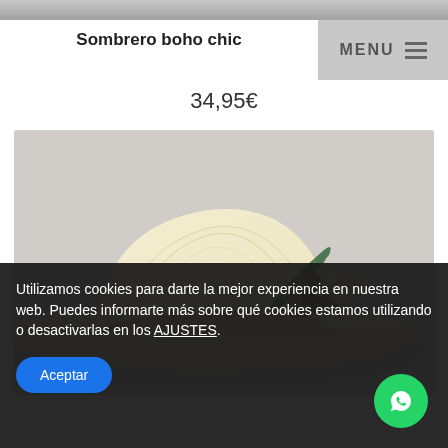[Figure (photo): Top strip of a product image (cropped hat photo, partially visible at top)]
Sombrero boho chic
34,95€
[Figure (photo): Close-up photo of a boho chic straw hat with floral and feather decorations on a grey background]
Utilizamos cookies para darte la mejor experiencia en nuestra web. Puedes informarte más sobre qué cookies estamos utilizando o desactivarlas en los AJUSTES.
Aceptar